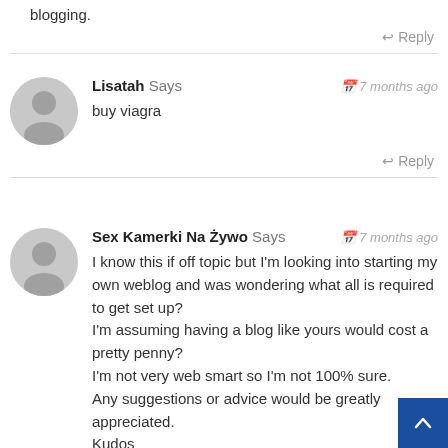blogging.
↩ Reply
Lisatah Says  📅 7 months ago
buy viagra
↩ Reply
Sex Kamerki Na Żywo Says  📅 7 months ago
I know this if off topic but I'm looking into starting my own weblog and was wondering what all is required to get set up?
I'm assuming having a blog like yours would cost a pretty penny?
I'm not very web smart so I'm not 100% sure.
Any suggestions or advice would be greatly appreciated.
Kudos